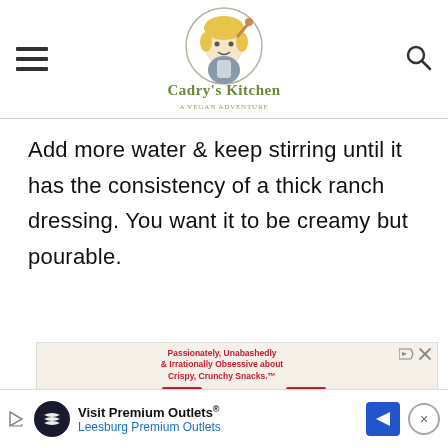Cadry's Kitchen – A Vegan Adventure
Add more water & keep stirring until it has the consistency of a thick ranch dressing. You want it to be creamy but pourable.
[Figure (photo): Advertisement for Mary's Real Thin Crackers and Organic Mary's crackers — 'Passionately, Unabashedly & Irrationally Obsessive about Crispy, Crunchy Snacks.']
[Figure (photo): Bottom ad bar: Visit Premium Outlets – Leesburg Premium Outlets, with a navigation arrow icon and close button.]